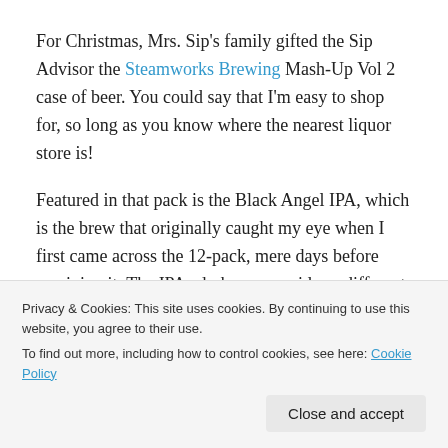For Christmas, Mrs. Sip's family gifted the Sip Advisor the Steamworks Brewing Mash-Up Vol 2 case of beer. You could say that I'm easy to shop for, so long as you know where the nearest liquor store is!
Featured in that pack is the Black Angel IPA, which is the brew that originally caught my eye when I first came across the 12-pack, mere days before receiving it. The IPAs darkness provides a different flavour profile from other, more traditional IPAs. It's roasty and hoppy all at the same time, and hard to describe.
Privacy & Cookies: This site uses cookies. By continuing to use this website, you agree to their use.
To find out more, including how to control cookies, see here: Cookie Policy